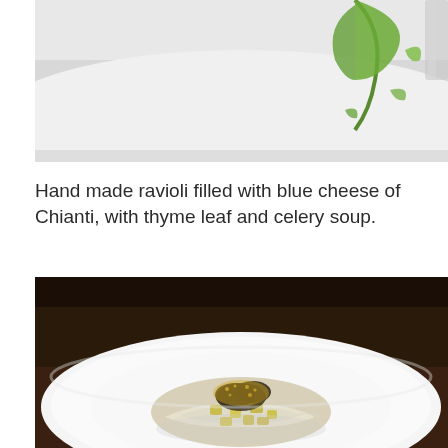[Figure (photo): Partial view of a white plate with a green herb or vegetable element, shot from above on a white background]
Hand made ravioli filled with blue cheese of Chianti, with thyme leaf and celery soup.
[Figure (photo): A white plate with ravioli or pasta dish topped with golden/yellow crumbled cheese or truffle shavings, with dark spices, on a white plate against a dark brown background]